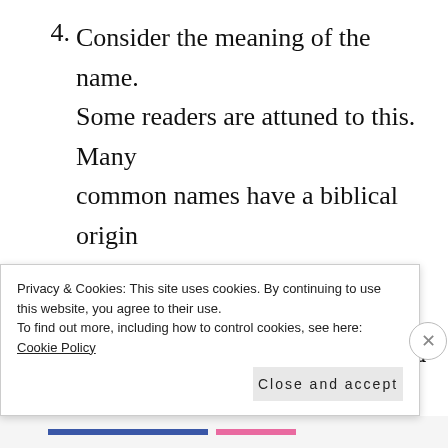4. Consider the meaning of the name. Some readers are attuned to this. Many common names have a biblical origin and an associated story. My Slain's name is Daniel and the image of a good man in a den of lions comes to mind when I see his name. Darth Vader', which means 'dark father' in German, was an obvious
Privacy & Cookies: This site uses cookies. By continuing to use this website, you agree to their use.
To find out more, including how to control cookies, see here: Cookie Policy
Close and accept